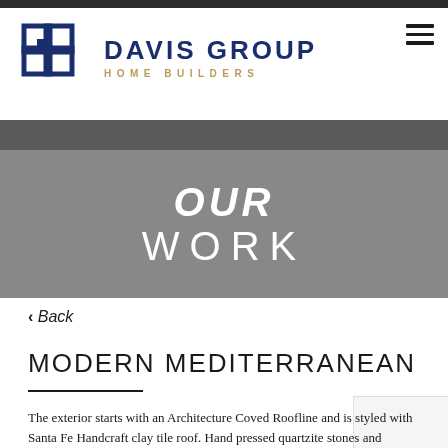Davis Group Home Builders
[Figure (logo): Davis Group Home Builders logo with interlocking square icon in navy blue and company name text]
OUR WORK
< Back
MODERN MEDITERRANEAN
The exterior starts with an Architecture Coved Roofline and is styled with Santa Fe Handcraft clay tile roof. Hand pressed quartzite stones and beautiful